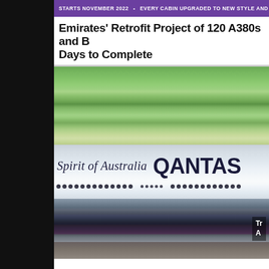STARTS NOVEMBER 2022 • EVERY CABIN UPGRADED TO NEW STYLE AND DESIGN • PREMIUM ECONOMY ADDED TO ALL 120 AIRC
Emirates' Retrofit Project of 120 A380s and B Days to Complete
[Figure (photo): Photo of a Qantas aircraft on a runway. The fuselage is white/light grey with 'Spirit of Australia' in italic serif font and 'QANTAS' in large bold sans-serif letters. The engine and landing gear are visible in the foreground. The background shows green grass and runway tarmac.]
Tr A